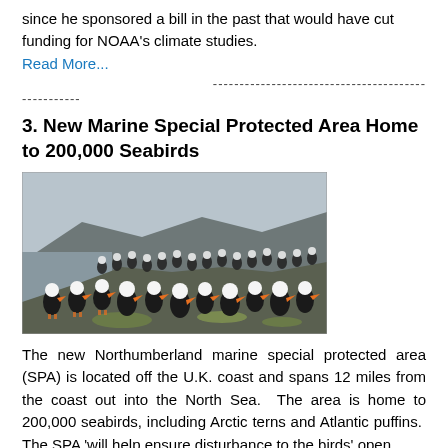since he sponsored a bill in the past that would have cut funding for NOAA's climate studies.
Read More...
------------------------------------------------------------------------
3. New Marine Special Protected Area Home to 200,000 Seabirds
[Figure (photo): A large group of Atlantic puffins gathered on rocky coastal terrain, with cliffs and grey sky in the background.]
The new Northumberland marine special protected area (SPA) is located off the U.K. coast and spans 12 miles from the coast out into the North Sea.  The area is home to 200,000 seabirds, including Arctic terns and Atlantic puffins.  The SPA 'will help ensure disturbance to the birds' open